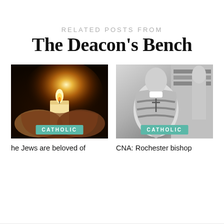RELATED POSTS FROM
The Deacon's Bench
[Figure (photo): Hands cupping a lit candle with warm glowing light against dark background]
CATHOLIC
[Figure (photo): Black and white photo of a bishop or clergy member in ceremonial robes with cross]
CATHOLIC
he Jews are beloved of
CNA: Rochester bishop